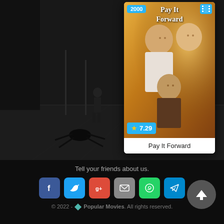[Figure (screenshot): Dark movie scene background with a dark figure/spider-like creature on the ground and a person standing in a dimly lit urban environment]
[Figure (illustration): Movie card for 'Pay It Forward' (2000) showing poster with three actors, rating badge 7.29, year badge 2000, and film reel icon]
Pay It Forward
Tell your friends about us.
[Figure (infographic): Social sharing buttons: Facebook, Twitter, Google+, Email, WhatsApp, Telegram]
© 2022 - Popular Movies. All rights reserved.